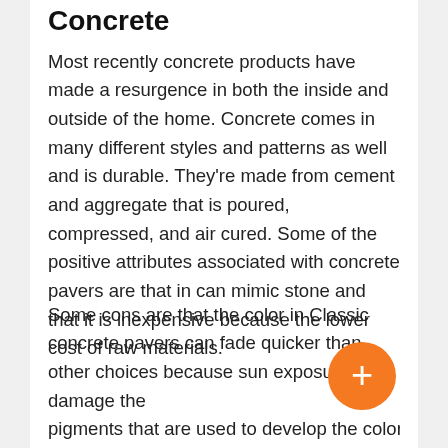Concrete
Most recently concrete products have made a resurgence in both the inside and outside of the home. Concrete comes in many different styles and patterns as well and is durable. They're made from cement and aggregate that is poured, compressed, and air cured. Some of the positive attributes associated with concrete pavers are that in can mimic stone and that it is inexpensive because the lower cost of raw materials.
Some cons are that the color in Classic concrete pavers can fade quicker than other choices because sun exposure can damage the pigments that are used to develop the color.